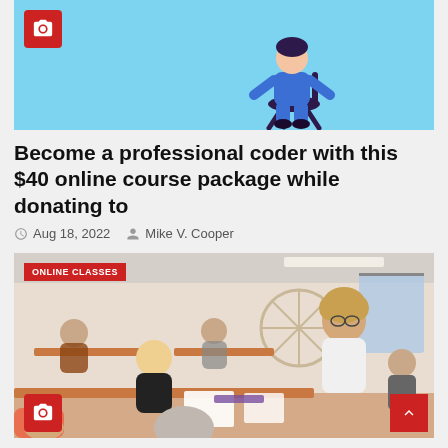[Figure (illustration): Light blue background with a person sitting illustration on the right side, with a red camera icon badge in the top-left corner]
Become a professional coder with this $40 online course package while donating to
Aug 18, 2022   Mike V. Cooper
[Figure (photo): Classroom photo showing students at desks with a teacher leaning over to help. An 'ONLINE CLASSES' red badge is in the top-left corner. A red camera icon is in the bottom-left and a red scroll-to-top arrow button is in the bottom-right.]